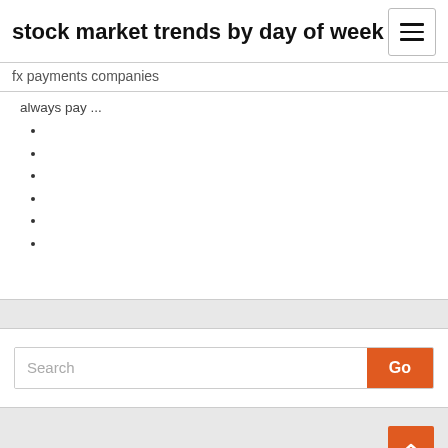stock market trends by day of week
fx payments companies
always pay ...
Search
Go